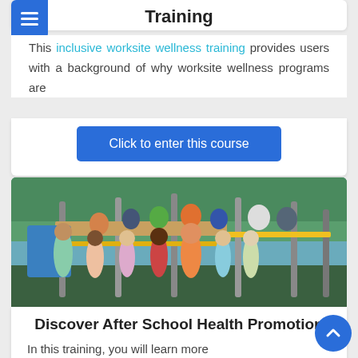Training
This inclusive worksite wellness training provides users with a background of why worksite wellness programs are
Click to enter this course
[Figure (photo): Group of children and an adult on a playground with colorful equipment]
Discover After School Health Promotion
In this training, you will learn more